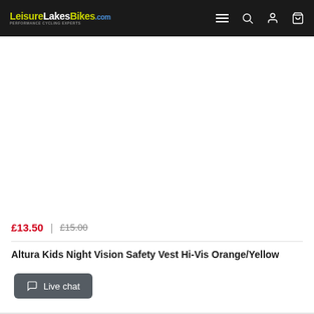LeisureLakesBikes.com navigation bar with hamburger menu, search, account, and cart icons
[Figure (photo): Product image area (white/blank) for Altura Kids Night Vision Safety Vest Hi-Vis Orange/Yellow]
£13.50 | £15.00
Altura Kids Night Vision Safety Vest Hi-Vis Orange/Yellow
Live chat